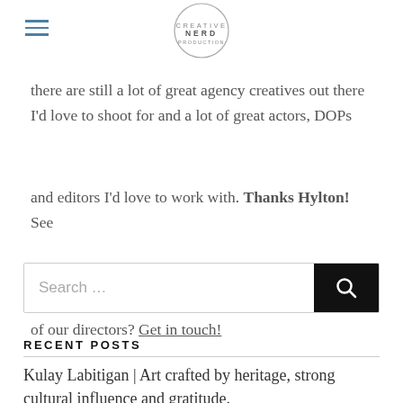NERD (logo)
there are still a lot of great agency creatives out there I'd love to shoot for and a lot of great actors, DOPs and editors I'd love to work with. Thanks Hylton! See more of Hylton's work here. Fancy working with one of our directors? Get in touch!
[Figure (other): Search bar with text 'Search ...' and a dark search button with magnifying glass icon]
RECENT POSTS
Kulay Labitigan | Art crafted by heritage, strong cultural influence and gratitude.